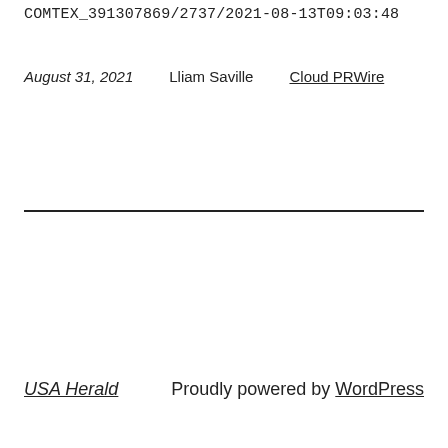COMTEX_391307869/2737/2021-08-13T09:03:48
August 31, 2021   Lliam Saville   Cloud PRWire
USA Herald   Proudly powered by WordPress